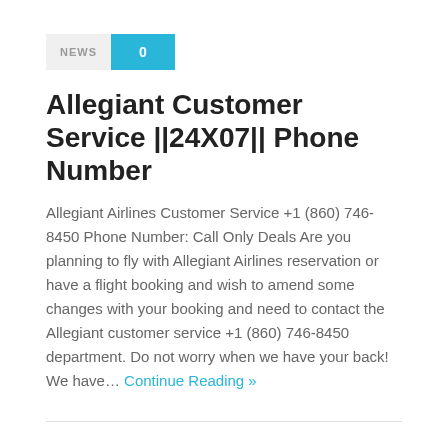NEWS 0
Allegiant Customer Service ||24X07|| Phone Number
Allegiant Airlines Customer Service +1 (860) 746-8450 Phone Number: Call Only Deals Are you planning to fly with Allegiant Airlines reservation or have a flight booking and wish to amend some changes with your booking and need to contact the Allegiant customer service +1 (860) 746-8450 department. Do not worry when we have your back! We have…
Continue Reading »
NEWS 0
United Airlines Customer Service